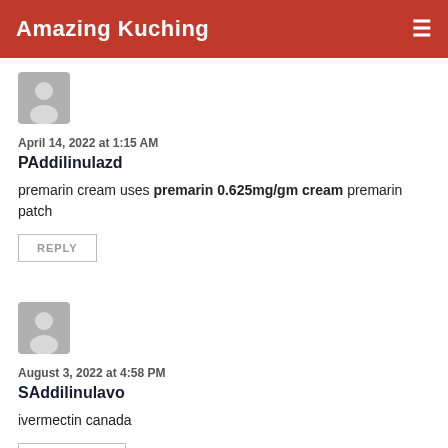Amazing Kuching
[Figure (illustration): Gray default avatar icon for first commenter]
April 14, 2022 at 1:15 AM
PAddilinulazd
premarin cream uses premarin 0.625mg/gm cream premarin patch
REPLY
[Figure (illustration): Gray default avatar icon for second commenter]
August 3, 2022 at 4:58 PM
SAddilinulavo
ivermectin canada